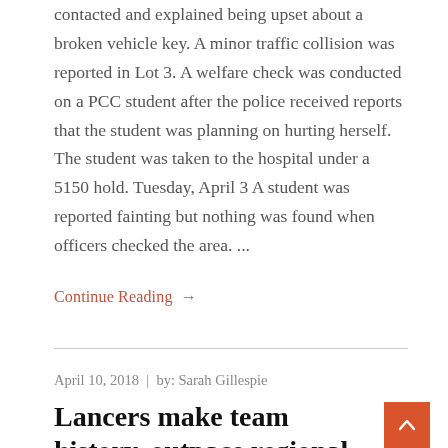contacted and explained being upset about a broken vehicle key. A minor traffic collision was reported in Lot 3. A welfare check was conducted on a PCC student after the police received reports that the student was planning on hurting herself. The student was taken to the hospital under a 5150 hold. Tuesday, April 3 A student was reported fainting but nothing was found when officers checked the area. ...
Continue Reading →
April 10, 2018  |  by: Sarah Gillespie
Lancers make team history, outpace regional competition